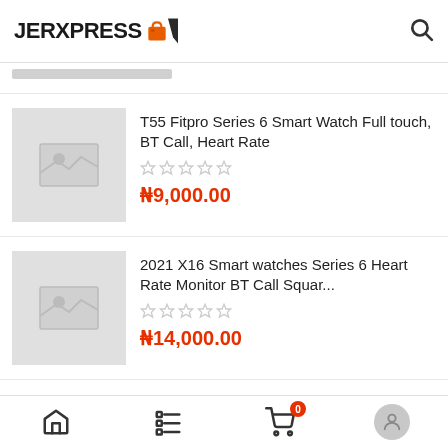JERXPRESS
[Figure (screenshot): Product listing page for JERXPRESS e-commerce store showing two smartwatch products]
T55 Fitpro Series 6 Smart Watch Full touch, BT Call, Heart Rate
₦9,000.00
2021 X16 Smart watches Series 6 Heart Rate Monitor BT Call Squar...
₦14,000.00
Home | Menu | Cart (0) | Profile